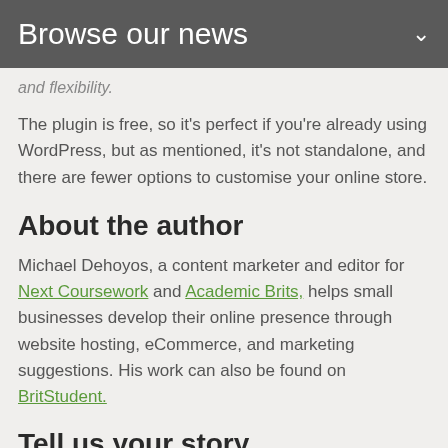Browse our news
and flexibility.
The plugin is free, so it's perfect if you're already using WordPress, but as mentioned, it's not standalone, and there are fewer options to customise your online store.
About the author
Michael Dehoyos, a content marketer and editor for Next Coursework and Academic Brits, helps small businesses develop their online presence through website hosting, eCommerce, and marketing suggestions. His work can also be found on BritStudent.
Tell us your story
Would you like to write for nichemarket just like Michael Dehoyos? Then how…